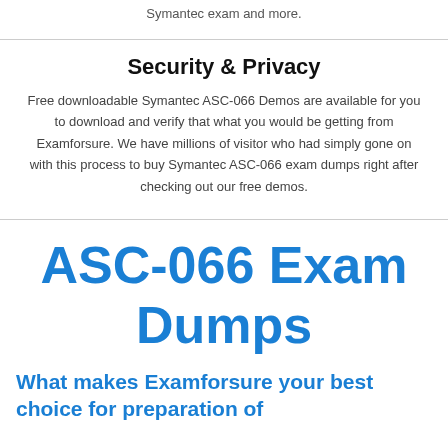Symantec exam and more.
Security & Privacy
Free downloadable Symantec ASC-066 Demos are available for you to download and verify that what you would be getting from Examforsure. We have millions of visitor who had simply gone on with this process to buy Symantec ASC-066 exam dumps right after checking out our free demos.
ASC-066 Exam Dumps
What makes Examforsure your best choice for preparation of